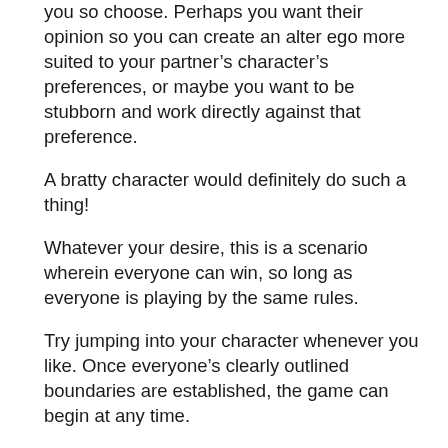you so choose. Perhaps you want their opinion so you can create an alter ego more suited to your partner’s character’s preferences, or maybe you want to be stubborn and work directly against that preference.
A bratty character would definitely do such a thing!
Whatever your desire, this is a scenario wherein everyone can win, so long as everyone is playing by the same rules.
Try jumping into your character whenever you like. Once everyone’s clearly outlined boundaries are established, the game can begin at any time.
In your discussion of the scene, make sure to go over some safewords in case anyone becomes uncomfortable. Often, a safeword for roleplay can be someone’s real name, so you wouldn’t be using it